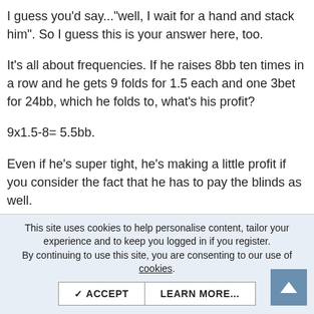I guess you'd say..."well, I wait for a hand and stack him". So I guess this is your answer here, too.
It's all about frequencies. If he raises 8bb ten times in a row and he gets 9 folds for 1.5 each and one 3bet for 24bb, which he folds to, what's his profit?
9x1.5-8= 5.5bb.
Even if he's super tight, he's making a little profit if you consider the fact that he has to pay the blinds as well.
The strategy here would be simple:
If he's a nit, meaning he only plays a 10% range/broadways only, just avoid him and 3bet him with QQ+. Fold when he shoves untill you have AA. His size is correct for his range
This site uses cookies to help personalise content, tailor your experience and to keep you logged in if you register.
By continuing to use this site, you are consenting to our use of cookies.